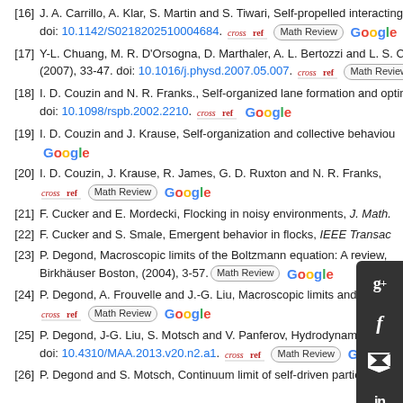[16] J. A. Carrillo, A. Klar, S. Martin and S. Tiwari, Self-propelled interacting particles doi: 10.1142/S0218202510004684.
[17] Y-L. Chuang, M. R. D'Orsogna, D. Marthaler, A. L. Bertozzi and L. S. Chayes, (2007), 33-47. doi: 10.1016/j.physd.2007.05.007.
[18] I. D. Couzin and N. R. Franks., Self-organized lane formation and optimized doi: 10.1098/rspb.2002.2210.
[19] I. D. Couzin and J. Krause, Self-organization and collective behaviour
[20] I. D. Couzin, J. Krause, R. James, G. D. Ruxton and N. R. Franks,
[21] F. Cucker and E. Mordecki, Flocking in noisy environments, J. Math.
[22] F. Cucker and S. Smale, Emergent behavior in flocks, IEEE Transac
[23] P. Degond, Macroscopic limits of the Boltzmann equation: A review, Birkhäuser Boston, (2004), 3-57.
[24] P. Degond, A. Frouvelle and J.-G. Liu, Macroscopic limits and phase
[25] P. Degond, J-G. Liu, S. Motsch and V. Panferov, Hydrodynamic models of se doi: 10.4310/MAA.2013.v20.n2.a1.
[26] P. Degond and S. Motsch, Continuum limit of self-driven particles with orient